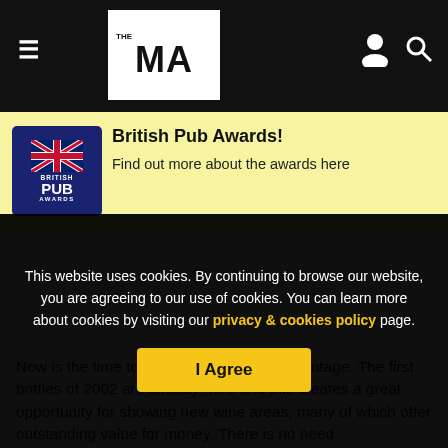THE MA — navigation bar with hamburger menu, logo, user icon, search icon
[Figure (logo): British Pub Awards logo — navy blue badge with UK flag and text BRITISH PUB AWARDS]
British Pub Awards! Find out more about the awards here
Now is the time to promote the new wine vintage. The first bottles of 2002 are already here and this creates a great opportunity for showing new wine areas, many of which offer outstanding value for money. There is no need
This website uses cookies. By continuing to browse our website, you are agreeing to our use of cookies. You can learn more about cookies by visiting our privacy & cookies policy page.
I Agree